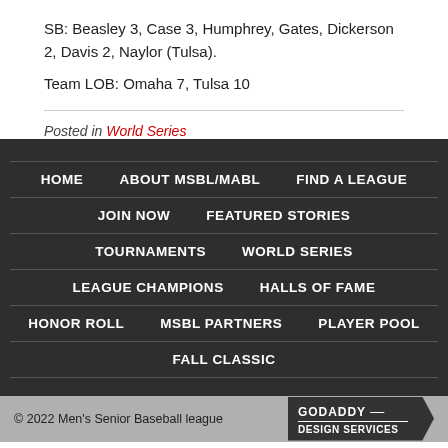SB: Beasley 3, Case 3, Humphrey, Gates, Dickerson 2, Davis 2, Naylor (Tulsa).
Team LOB: Omaha 7, Tulsa 10
Posted in World Series
HOME
ABOUT MSBL/MABL
FIND A LEAGUE
JOIN NOW
FEATURED STORIES
TOURNAMENTS
WORLD SERIES
LEAGUE CHAMPIONS
HALLS OF FAME
HONOR ROLL
MSBL PARTNERS
PLAYER POOL
FALL CLASSIC
© 2022 Men's Senior Baseball league  GODADDY DESIGN SERVICES